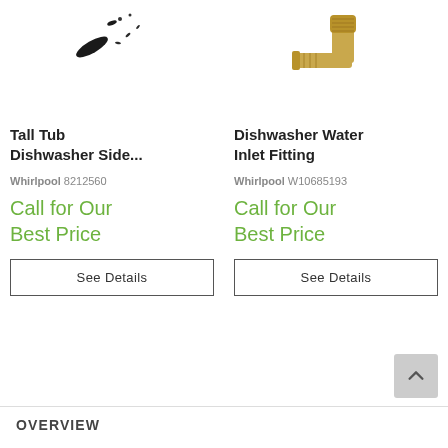[Figure (photo): Small black dishwasher side parts/clips and screws scattered against white background]
[Figure (photo): Brass dishwasher water inlet fitting, L-shaped metal connector against white background]
Tall Tub Dishwasher Side...
Whirlpool 8212560
Call for Our Best Price
See Details
Dishwasher Water Inlet Fitting
Whirlpool W10685193
Call for Our Best Price
See Details
OVERVIEW